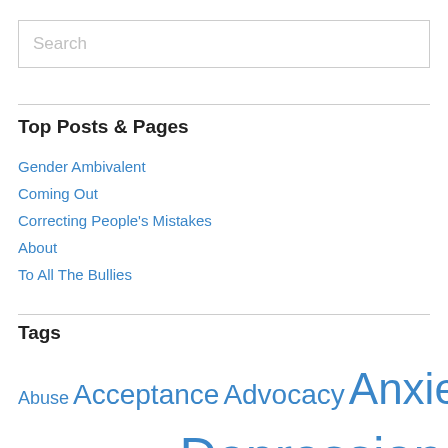Search
Top Posts & Pages
Gender Ambivalent
Coming Out
Correcting People's Mistakes
About
To All The Bullies
Tags
Abuse Acceptance Advocacy Anxiety Art Bio Bullying Communication Depression Disability Emotion